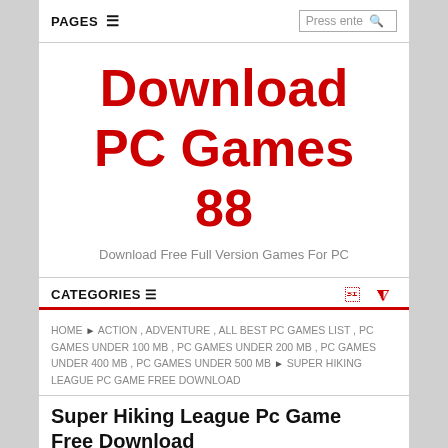PAGES ☰   Press ente 🔍
Download PC Games 88
Download Free Full Version Games For PC
CATEGORIES ☰
HOME ▶ ACTION , ADVENTURE , ALL BEST PC GAMES LIST , PC GAMES UNDER 100 MB , PC GAMES UNDER 200 MB , PC GAMES UNDER 400 MB , PC GAMES UNDER 500 MB ▶ SUPER HIKING LEAGUE PC GAME FREE DOWNLOAD
Super Hiking League Pc Game Free Download